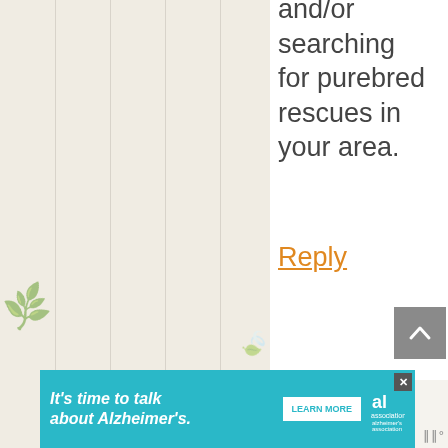and/or searching for purebred rescues in your area.
Reply
Diane Fox
[Figure (screenshot): Alzheimer's Association advertisement banner: teal background, text "It's time to talk about Alzheimer's.", "LEARN MORE" button, Alzheimer's Association logo, and close button]